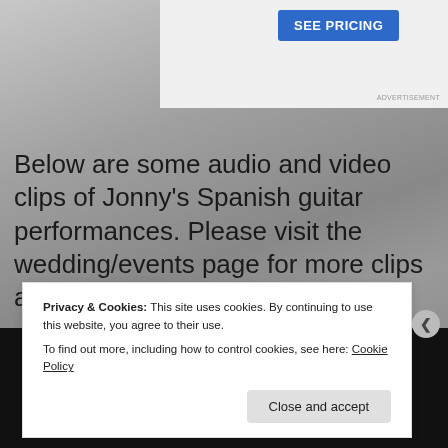[Figure (screenshot): SEE PRICING button on light grey/white ad banner background]
[Figure (photo): Blurred bokeh grey background with guitar texture/hair visible on right side]
Below are some audio and video clips of Jonny's Spanish guitar performances. Please visit the wedding/events page for more clips and a full repertoire list.
[Figure (screenshot): Dark video player strip at bottom of page]
Privacy & Cookies: This site uses cookies. By continuing to use this website, you agree to their use.
To find out more, including how to control cookies, see here: Cookie Policy
Close and accept